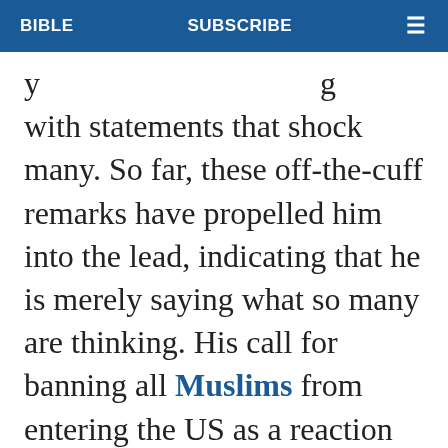BIBLE   SUBSCRIBE   ≡
y … g with statements that shock many. So far, these off-the-cuff remarks have propelled him into the lead, indicating that he is merely saying what so many are thinking. His call for banning all Muslims from entering the US as a reaction to the San Bernadino terror attack horrified many, yet solidified his support among Republicans.

Perhaps the biggest enigma of all is